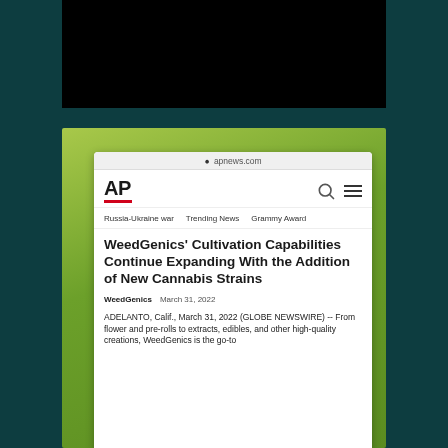[Figure (screenshot): Screenshot of an AP News article on apnews.com titled 'WeedGenics' Cultivation Capabilities Continue Expanding With the Addition of New Cannabis Strains', dated March 31, 2022, showing the AP logo, navigation links (Russia-Ukraine war, Trending News, Grammy Award), and the beginning of the article body.]
WeedGenics' Cultivation Capabilities Continue Expanding With the Addition of New Cannabis Strains
WeedGenics   March 31, 2022
ADELANTO, Calif., March 31, 2022 (GLOBE NEWSWIRE) -- From flower and pre-rolls to extracts, edibles, and other high-quality creations, WeedGenics is the go-to